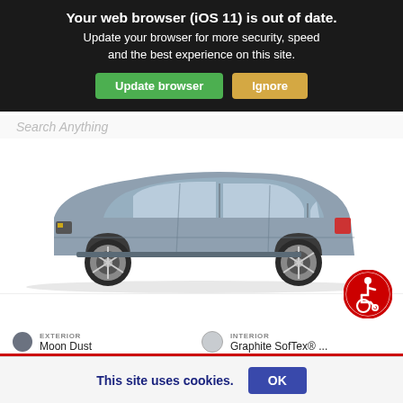Your web browser (iOS 11) is out of date. Update your browser for more security, speed and the best experience on this site.
[Figure (screenshot): Browser update warning banner with two buttons: green 'Update browser' button and gold 'Ignore' button on dark background]
[Figure (photo): Side profile view of a grey/blue Toyota Highlander SUV on white background]
[Figure (illustration): Red circular accessibility/wheelchair icon]
EXTERIOR
Moon Dust
INTERIOR
Graphite SofTex® ...
NEW 2022
TOYOTA HIGHLANDER ...
This site uses cookies.